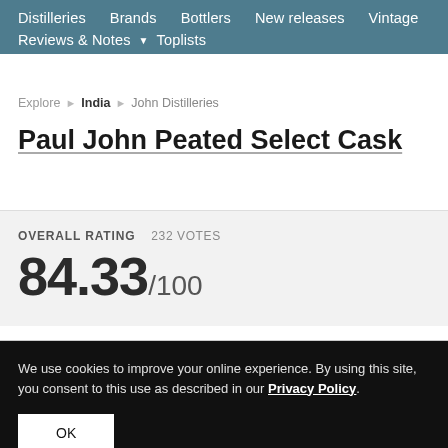Distilleries  Brands  Bottlers  New releases  Vintage  Reviews & Notes  Toplists
Explore  India  John Distilleries
Paul John Peated Select Cask
OVERALL RATING  232 VOTES
84.33/100
We use cookies to improve your online experience. By using this site, you consent to this use as described in our Privacy Policy.
OK